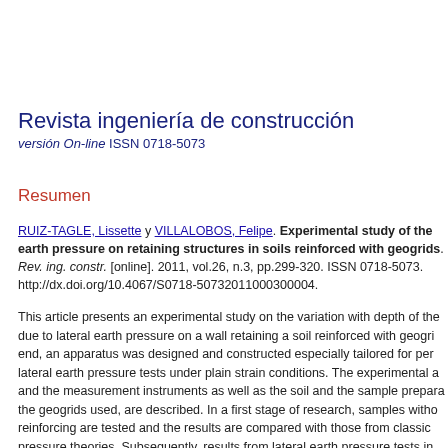Revista ingeniería de construcción
versión On-line ISSN 0718-5073
Resumen
RUIZ-TAGLE, Lissette y VILLALOBOS, Felipe. Experimental study of the earth pressure on retaining structures in soils reinforced with geogrids. Rev. ing. constr. [online]. 2011, vol.26, n.3, pp.299-320. ISSN 0718-5073. http://dx.doi.org/10.4067/S0718-50732011000300004.
This article presents an experimental study on the variation with depth of the due to lateral earth pressure on a wall retaining a soil reinforced with geogri end, an apparatus was designed and constructed especially tailored for per lateral earth pressure tests under plain strain conditions. The experimental a and the measurement instruments as well as the soil and the sample prepara the geogrids used, are described. In a first stage of research, samples witho reinforcing are tested and the results are compared with those from classic pressure theories. Subsequently, results from lateral earth pressure tests in reinforced with one, two, three and four geogrids are presented. It is conclud inclusion of geogrids as soil reinforcement reduces the earth pressure on th structure. This lateral earth pressure reduction is approximately of 25% whe